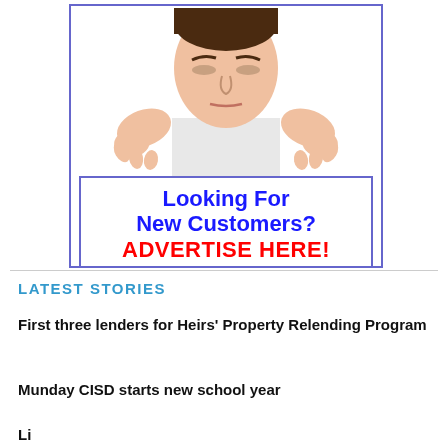[Figure (illustration): Advertisement image showing a man peeking over a sign with text 'Looking For New Customers? ADVERTISE HERE!']
LATEST STORIES
First three lenders for Heirs' Property Relending Program
Munday CISD starts new school year
Li...